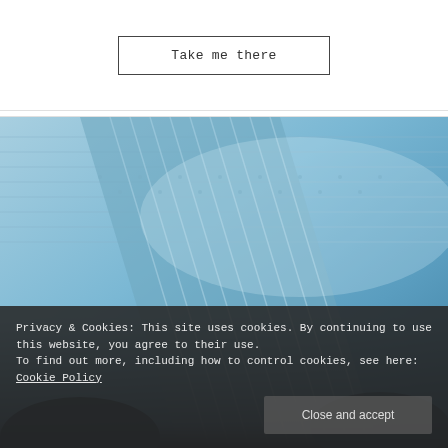Take me there
[Figure (photo): Close-up photograph of light blue knitted fabric showing ribbed texture and stitch detail, held in hands against a dark background]
Privacy & Cookies: This site uses cookies. By continuing to use this website, you agree to their use.
To find out more, including how to control cookies, see here: Cookie Policy
Close and accept